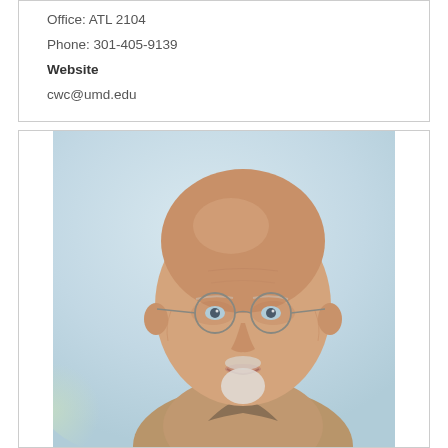Office: ATL 2104
Phone: 301-405-9139
Website
cwc@umd.edu
[Figure (photo): Portrait photo of an elderly bald man with round wire-rimmed glasses and a white goatee, wearing a tan/khaki collared shirt, photographed against a blurred light blue and white background.]